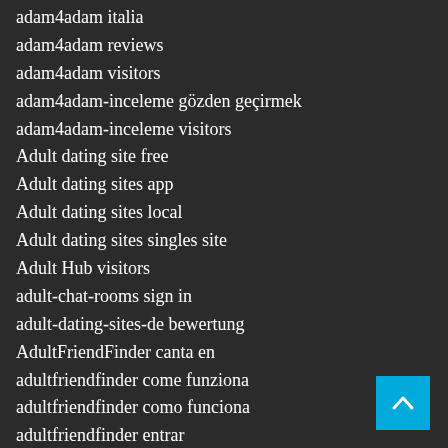adam4adam italia
adam4adam reviews
adam4adam visitors
adam4adam-inceleme gözden geçirmek
adam4adam-inceleme visitors
Adult dating site free
Adult dating sites app
Adult dating sites local
Adult dating sites singles site
Adult Hub visitors
adult-chat-rooms sign in
adult-dating-sites-de bewertung
AdultFriendFinder canta en
adultfriendfinder come funziona
adultfriendfinder como funciona
adultfriendfinder entrar
adultfriendfinder espa?a
adultfriendfinder gratuit